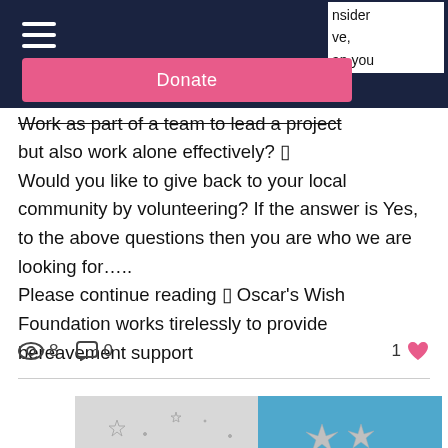Navigation bar with hamburger menu, shopping bag icon with count 0, and Donate button. Partial text visible: 'nsider', 've,', 'an you'
Work as part of a team to lead a project but also work alone effectively? ☐ Would you like to give back to your local community by volunteering? If the answer is Yes, to the above questions then you are who we are looking for..... Please continue reading ☐ Oscar’s Wish Foundation works tirelessly to provide bereavement support
Views: 8   Comments: 0   Likes: 1
[Figure (photo): Partial view of a photo at bottom of page, showing a white/grey left half with star decorations and a blue right half with silver star decorations]